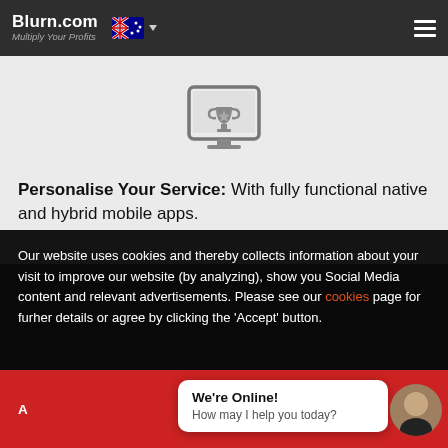Blurn.com — Multiply Your Profits
rich apps that can help expand your customer base.
[Figure (illustration): Trophy icon inside a laptop/tablet frame]
Personalise Your Service: With fully functional native and hybrid mobile apps.
Our website uses cookies and thereby collects information about your visit to improve our website (by analyzing), show you Social Media content and relevant advertisements. Please see our cookies page for furher details or agree by clicking the 'Accept' button.
We're Online! How may I help you today?